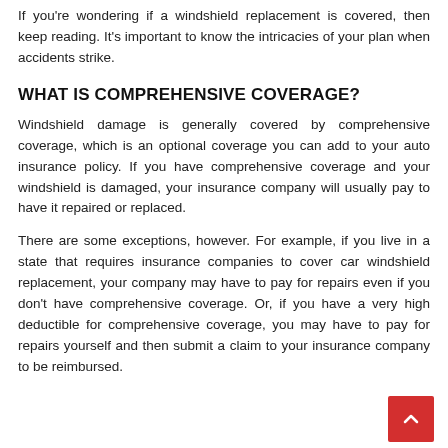If you're wondering if a windshield replacement is covered, then keep reading. It's important to know the intricacies of your plan when accidents strike.
WHAT IS COMPREHENSIVE COVERAGE?
Windshield damage is generally covered by comprehensive coverage, which is an optional coverage you can add to your auto insurance policy. If you have comprehensive coverage and your windshield is damaged, your insurance company will usually pay to have it repaired or replaced.
There are some exceptions, however. For example, if you live in a state that requires insurance companies to cover car windshield replacement, your company may have to pay for repairs even if you don't have comprehensive coverage. Or, if you have a very high deductible for comprehensive coverage, you may have to pay for repairs yourself and then submit a claim to your insurance company to be reimbursed.